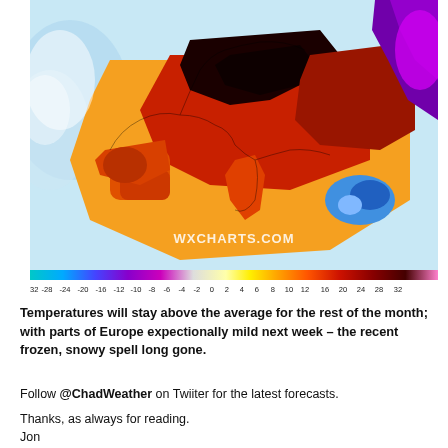[Figure (map): Weather temperature anomaly map of Europe showing warm (red/dark red/black) temperatures over most of Europe and cold (blue/purple) areas to the northeast. Color scale from -32 to +32 degrees. Watermark: WXCHARTS.COM]
-32 -28 -24 -20 -16 -12 -10 -8 -6 -4 -2 0 2 4 6 8 10 12 16 20 24 28 32
Temperatures will stay above the average for the rest of the month; with parts of Europe expectionally mild next week – the recent frozen, snowy spell long gone.
Follow @ChadWeather on Twiiter for the latest forecasts.
Thanks, as always for reading.
Jon